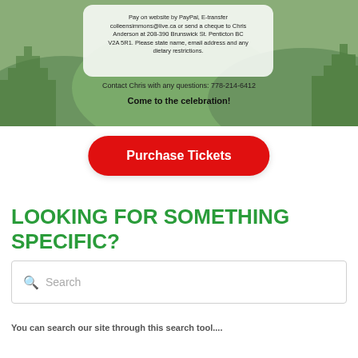[Figure (illustration): Green nature banner with white rounded text box containing payment instructions, contact info, and a celebration call-to-action on a forest/hills background.]
Pay on website by PayPal, E-transfer colleensimmons@live.ca or send a cheque to Chris Anderson at 208-390 Brunswick St. Penticton BC V2A 5R1. Please state name, email address and any dietary restrictions.
Contact Chris with any questions: 778-214-6412
Come to the celebration!
[Figure (other): Red rounded rectangle button labeled 'Purchase Tickets']
LOOKING FOR SOMETHING SPECIFIC?
Search
You can search our site through this search tool....